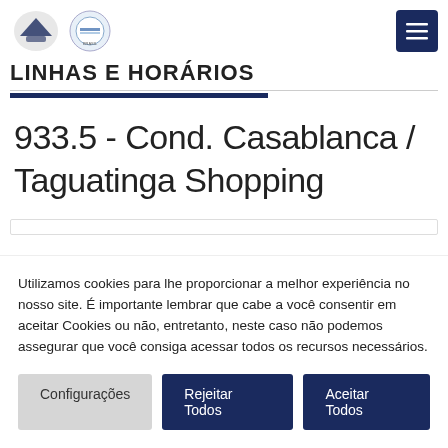LINHAS E HORÁRIOS
933.5 - Cond. Casablanca / Taguatinga Shopping
Utilizamos cookies para lhe proporcionar a melhor experiência no nosso site. É importante lembrar que cabe a você consentir em aceitar Cookies ou não, entretanto, neste caso não podemos assegurar que você consiga acessar todos os recursos necessários.
Configurações
Rejeitar Todos
Aceitar Todos